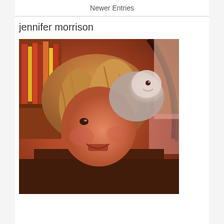Newer Entries
jennifer morrison
[Figure (photo): A woman with shoulder-length blonde hair smiling, with a small white dog beside her and bookshelves visible in the background. The photo has a warm, reddish-orange tint.]